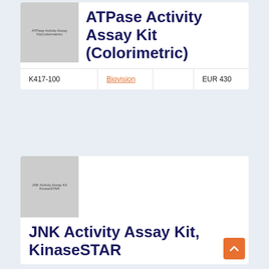[Figure (photo): Product image placeholder for ATPase Activity Assay Kit (Colorimetric) with gray background and small text label]
ATPase Activity Assay Kit (Colorimetric)
| Catalog | Supplier |  | Price |
| --- | --- | --- | --- |
| K417-100 | Biovision |  | EUR 430 |
[Figure (photo): Product image placeholder for JNK Activity Assay Kit KinaseSTAR with gray background and small text label]
JNK Activity Assay Kit, KinaseSTAR